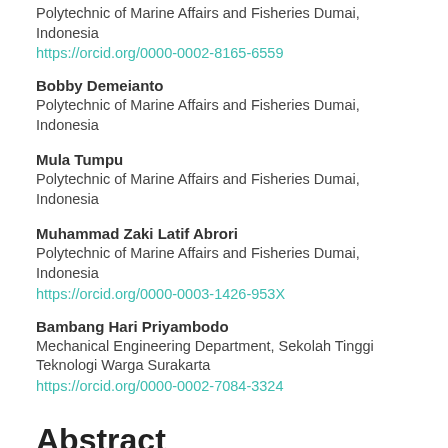Polytechnic of Marine Affairs and Fisheries Dumai, Indonesia
https://orcid.org/0000-0002-8165-6559
Bobby Demeianto
Polytechnic of Marine Affairs and Fisheries Dumai, Indonesia
Mula Tumpu
Polytechnic of Marine Affairs and Fisheries Dumai, Indonesia
Muhammad Zaki Latif Abrori
Polytechnic of Marine Affairs and Fisheries Dumai, Indonesia
https://orcid.org/0000-0003-1426-953X
Bambang Hari Priyambodo
Mechanical Engineering Department, Sekolah Tinggi Teknologi Warga Surakarta
https://orcid.org/0000-0002-7084-3324
Abstract